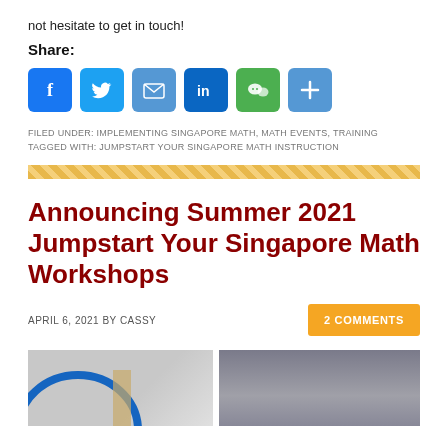not hesitate to get in touch!
Share:
[Figure (infographic): Row of social sharing icon buttons: Facebook (blue), Twitter (blue), Email (blue), LinkedIn (blue), WeChat (green), More/Add (blue)]
FILED UNDER: IMPLEMENTING SINGAPORE MATH, MATH EVENTS, TRAINING
TAGGED WITH: JUMPSTART YOUR SINGAPORE MATH INSTRUCTION
[Figure (infographic): Diagonal stripe divider pattern in gold/yellow]
Announcing Summer 2021 Jumpstart Your Singapore Math Workshops
APRIL 6, 2021 BY CASSY
2 COMMENTS
[Figure (photo): Two partial thumbnail images side by side at the bottom of the page, partially cut off]